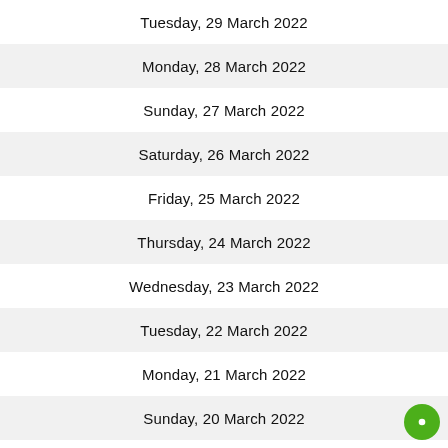Tuesday, 29 March 2022
Monday, 28 March 2022
Sunday, 27 March 2022
Saturday, 26 March 2022
Friday, 25 March 2022
Thursday, 24 March 2022
Wednesday, 23 March 2022
Tuesday, 22 March 2022
Monday, 21 March 2022
Sunday, 20 March 2022